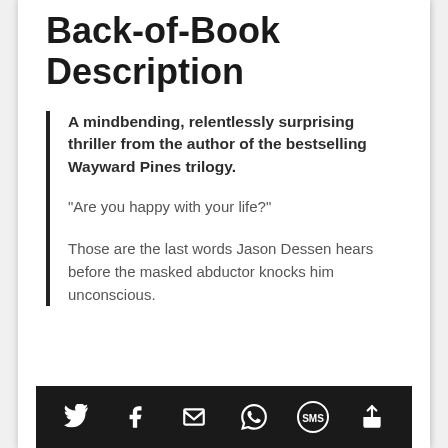Dark Matter Review: Back-of-Book Description
A mindbending, relentlessly surprising thriller from the author of the bestselling Wayward Pines trilogy.
“Are you happy with your life?”
Those are the last words Jason Dessen hears before the masked abductor knocks him unconscious.
Social share icons: Twitter, Facebook, Email, WhatsApp, SMS, Other